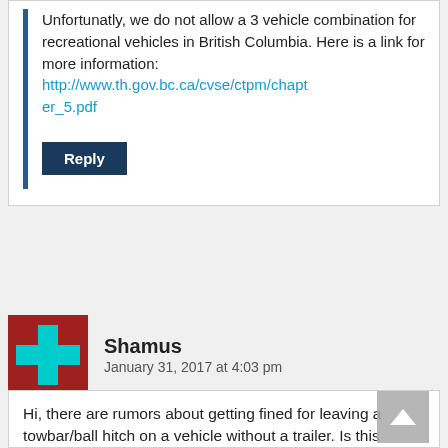Unfortunatly, we do not allow a 3 vehicle combination for recreational vehicles in British Columbia. Here is a link for more information: http://www.th.gov.bc.ca/cvse/ctpm/chapter_5.pdf
Reply
Shamus
January 31, 2017 at 4:03 pm
Hi, there are rumors about getting fined for leaving a towbar/ball hitch on a vehicle without a trailer. Is this possible? If...